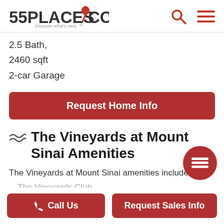55PLACES.COM — Discover what's next.™
2.5 Bath,
2460 sqft
2-car Garage
Request Home Info
The Vineyards at Mount Sinai Amenities
The Vineyards at Mount Sinai amenities include
The Vineyards Club
Call Us
Request Sales Info